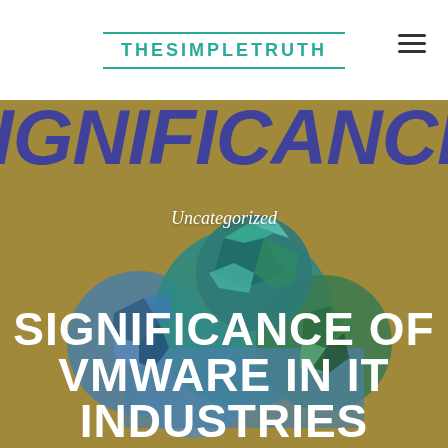THESIMPLETRUTH
[Figure (infographic): Gold/tan background with large dark blue italic text 'SIGNIFICANCE OF' visible at top, and a geometric polygon cloud illustration in shades of teal, blue, gray, and green in the center]
Uncategorized
SIGNIFICANCE OF VMWARE IN IT INDUSTRIES